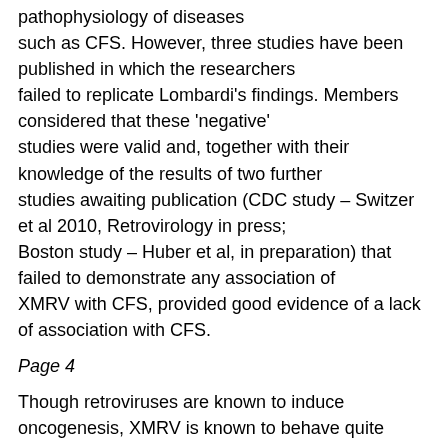pathophysiology of diseases such as CFS. However, three studies have been published in which the researchers failed to replicate Lombardi's findings. Members considered that these 'negative' studies were valid and, together with their knowledge of the results of two further studies awaiting publication (CDC study – Switzer et al 2010, Retrovirology in press; Boston study – Huber et al, in preparation) that failed to demonstrate any association of XMRV with CFS, provided good evidence of a lack of association with CFS.
Page 4
Though retroviruses are known to induce oncogenesis, XMRV is known to behave quite differently and distinctly from other retroviruses, and a biological mechanism by which XMRV could induce syndromes such as CFS has not been proposed.